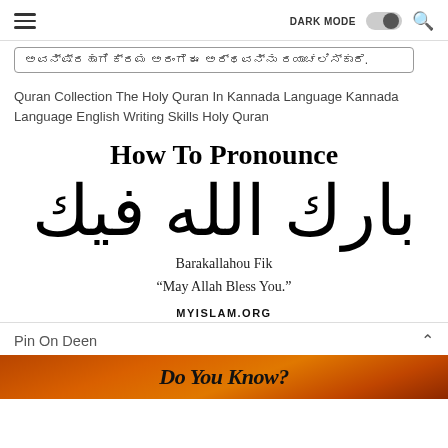☰  DARK MODE  🔍
ಅವನ್ಷ್ರಹಾಗಿ ಕ್ರಮ ಅರಂಗೆ ಈ ಅರ್ಥವನ್ನು ರಯಾಚಲಿಸ್ಕಾರೆ.
Quran Collection The Holy Quran In Kannada Language Kannada Language English Writing Skills Holy Quran
How To Pronounce
[Figure (other): Large Arabic calligraphic text reading 'بارك الله فيك' (Barakallahou Fik)]
Barakallahou Fik
"May Allah Bless You."
MYISLAM.ORG
Pin On Deen
[Figure (photo): Bottom strip of an orange/fire-textured image with italic text 'Do You Know?']